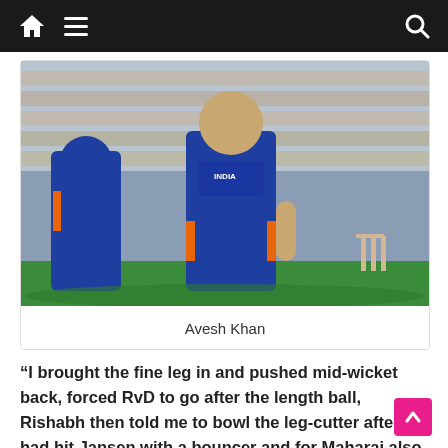Navigation bar with home, menu, and search icons
[Figure (photo): Two Indian cricket players in blue jerseys on a cricket field, crowd visible in background]
Avesh Khan
“I brought the fine leg in and pushed mid-wicket back, forced RvD to go after the length ball, Rishabh then told me to bowl the leg-cutter after I had hit Jansen with a bouncer and for Maharaj also I bowled a slower ball on the hard length. We are playing well as a team, fielding well most importantly and bowling well, we back each other and will enjoy the last game. Yes, the